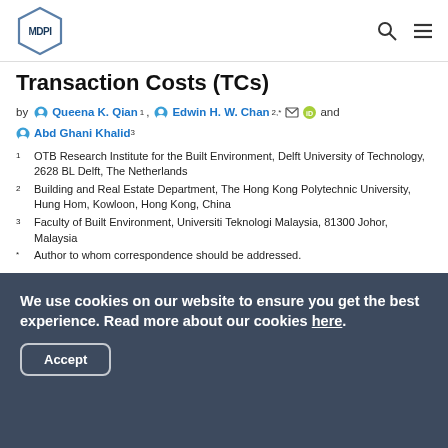MDPI [logo] [search icon] [menu icon]
Transaction Costs (TCs)
by Queena K. Qian 1, Edwin H. W. Chan 2,* and Abd Ghani Khalid 3
1 OTB Research Institute for the Built Environment, Delft University of Technology, 2628 BL Delft, The Netherlands
2 Building and Real Estate Department, The Hong Kong Polytechnic University, Hung Hom, Kowloon, Hong Kong, China
3 Faculty of Built Environment, Universiti Teknologi Malaysia, 81300 Johor, Malaysia
* Author to whom correspondence should be addressed.
We use cookies on our website to ensure you get the best experience. Read more about our cookies here.
Accept